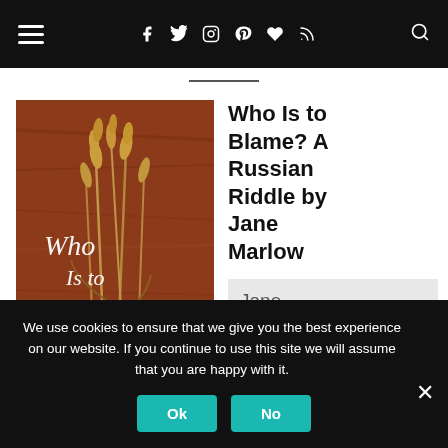Navigation bar with hamburger menu, social icons (f, twitter, instagram, pinterest, heart, rss), and search icon
[Figure (illustration): Book cover of 'Who Is to Blame? A Russian Riddle' showing wheat stalks against a reddish-brown wood background with cursive white title text and subtitle 'A Russian Riddle']
Who Is to Blame? A Russian Riddle by Jane Marlow
Jane Marlow's
We use cookies to ensure that we give you the best experience on our website. If you continue to use this site we will assume that you are happy with it.
Ok
No